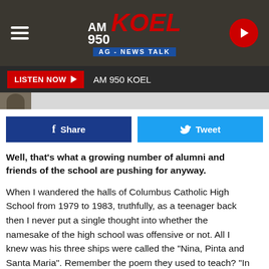[Figure (logo): AM 950 KOEL AG-NEWS TALK radio station logo with hamburger menu icon on left and red play button on right, on dark background]
LISTEN NOW ▶  AM 950 KOEL
f Share   Tweet
Well, that's what a growing number of alumni and friends of the school are pushing for anyway.
When I wandered the halls of Columbus Catholic High School from 1979 to 1983, truthfully, as a teenager back then I never put a single thought into whether the namesake of the high school was offensive or not. All I knew was his three ships were called the "Nina, Pinta and Santa Maria". Remember the poem they used to teach? "In 1492, Columbus sailed the ocean blue...blah blah blah". These are the useless history facts that they pounded into your head in elementary